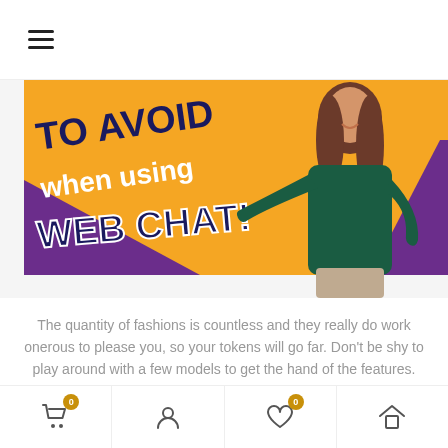≡ (hamburger menu icon)
[Figure (photo): Banner image showing text 'TO AVOID when using WEB CHAT!' on an orange background with purple accents, and a woman in a dark green top standing to the right]
The quantity of fashions is countless and they really do work onerous to please you, so your tokens will go far. Don't be shy to play around with a few models to get the hand of the features. Maybe you've spotted a gap within the chat room market you need to seize the opportunity? All you want is an eye-grabbing
Navigation bar with cart (0), user, heart (0), and home icons